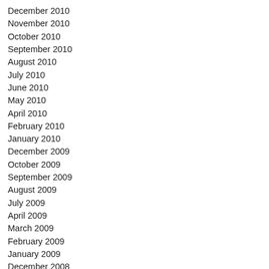December 2010
November 2010
October 2010
September 2010
August 2010
July 2010
June 2010
May 2010
April 2010
February 2010
January 2010
December 2009
October 2009
September 2009
August 2009
July 2009
April 2009
March 2009
February 2009
January 2009
December 2008
November 2008
October 2008